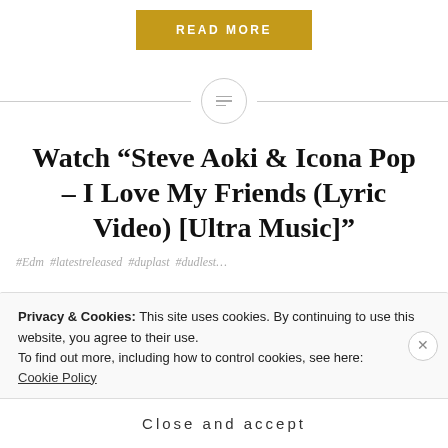READ MORE
[Figure (other): Decorative divider with a circle icon containing three lines]
Watch “Steve Aoki & Icona Pop – I Love My Friends (Lyric Video) [Ultra Music]”
#Edm #latestreleased #duplast...
Privacy & Cookies: This site uses cookies. By continuing to use this website, you agree to their use.
To find out more, including how to control cookies, see here:
Cookie Policy
Close and accept